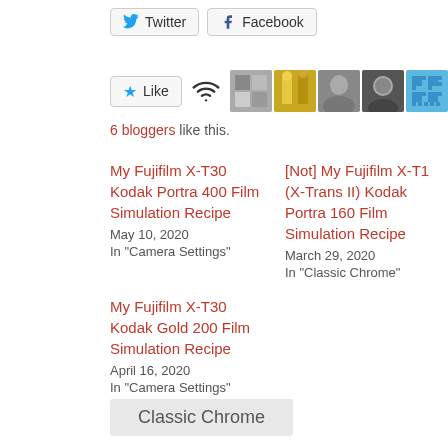[Figure (screenshot): Twitter and Facebook share buttons]
[Figure (screenshot): Like button with star icon, wifi icon, and 5 avatar thumbnails]
6 bloggers like this.
My Fujifilm X-T30 Kodak Portra 400 Film Simulation Recipe
May 10, 2020
In "Camera Settings"
[Not] My Fujifilm X-T1 (X-Trans II) Kodak Portra 160 Film Simulation Recipe
March 29, 2020
In "Classic Chrome"
My Fujifilm X-T30 Kodak Gold 200 Film Simulation Recipe
April 16, 2020
In "Camera Settings"
Classic Chrome